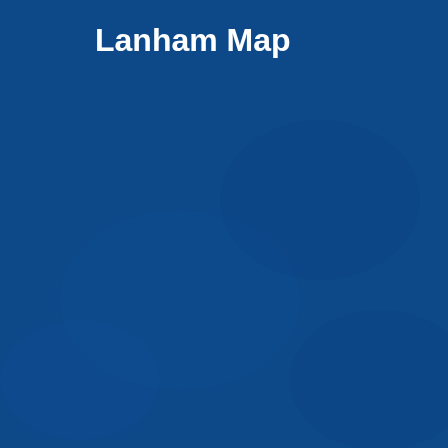[Figure (map): Lanham Map — a full-page map displayed with a solid dark navy/blue background. The map content is largely obscured or the page shows a cover/placeholder for the Lanham Map with the title text in white bold font at the top.]
Lanham Map